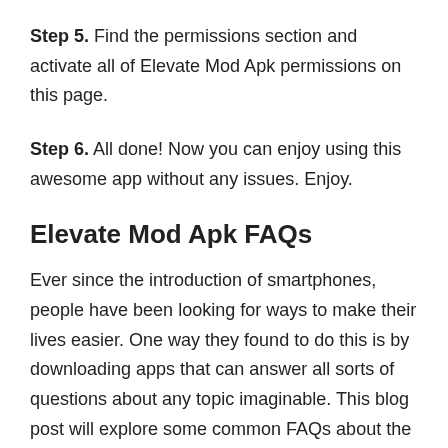Step 5. Find the permissions section and activate all of Elevate Mod Apk permissions on this page.
Step 6. All done! Now you can enjoy using this awesome app without any issues. Enjoy.
Elevate Mod Apk FAQs
Ever since the introduction of smartphones, people have been looking for ways to make their lives easier. One way they found to do this is by downloading apps that can answer all sorts of questions about any topic imaginable. This blog post will explore some common FAQs about the Elevate Mod Apk app.